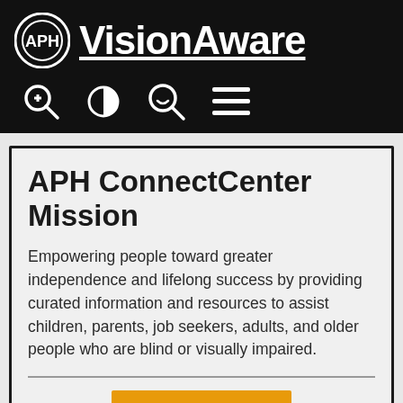APH VisionAware
APH ConnectCenter Mission
Empowering people toward greater independence and lifelong success by providing curated information and resources to assist children, parents, job seekers, adults, and older people who are blind or visually impaired.